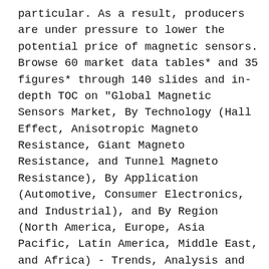particular. As a result, producers are under pressure to lower the potential price of magnetic sensors. Browse 60 market data tables* and 35 figures* through 140 slides and in-depth TOC on "Global Magnetic Sensors Market, By Technology (Hall Effect, Anisotropic Magneto Resistance, Giant Magneto Resistance, and Tunnel Magneto Resistance), By Application (Automotive, Consumer Electronics, and Industrial), and By Region (North America, Europe, Asia Pacific, Latin America, Middle East, and Africa) - Trends, Analysis and Forecast till 2029" To know the upcoming trends and insights prevalent in this market, click the link below: https://www.prophecymarketinsights.com/market_insight/Global-Magnetic-Sensors-Market-By-375 Key Market Insights from the report: Global Magnetic Sensors Market accounted for